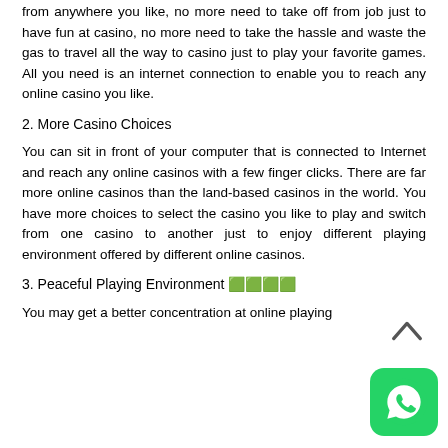from anywhere you like, no more need to take off from job just to have fun at casino, no more need to take the hassle and waste the gas to travel all the way to casino just to play your favorite games. All you need is an internet connection to enable you to reach any online casino you like.
2. More Casino Choices
You can sit in front of your computer that is connected to Internet and reach any online casinos with a few finger clicks. There are far more online casinos than the land-based casinos in the world. You have more choices to select the casino you like to play and switch from one casino to another just to enjoy different playing environment offered by different online casinos.
3. Peaceful Playing Environment 🟩🟩🟩🟩
You may get a better concentration at online playing